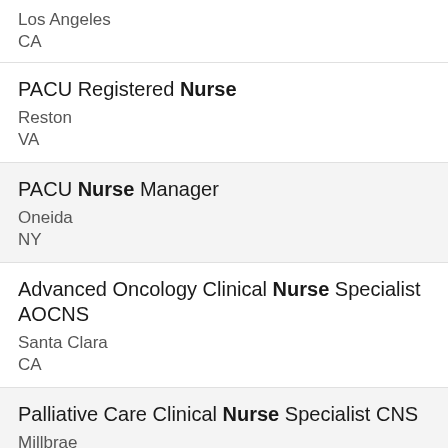Los Angeles
CA
PACU Registered Nurse
Reston
VA
PACU Nurse Manager
Oneida
NY
Advanced Oncology Clinical Nurse Specialist AOCNS
Santa Clara
CA
Palliative Care Clinical Nurse Specialist CNS
Millbrae
CA